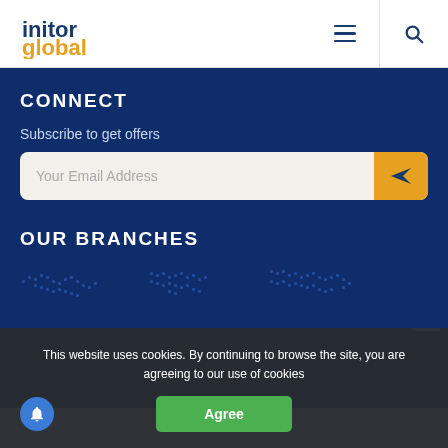[Figure (logo): initorGlobal logo — 'initor' in dark navy blue and 'global' in orange/gold, with a dotted 'i' in the logo mark]
CONNECT
Subscribe to get offers
Your Email Address
OUR BRANCHES
[Figure (map): Partial world map rendered in dotted/pixelated blue on dark navy background showing continents]
This website uses cookies. By continuing to browse the site, you are agreeing to our use of cookies
Agree